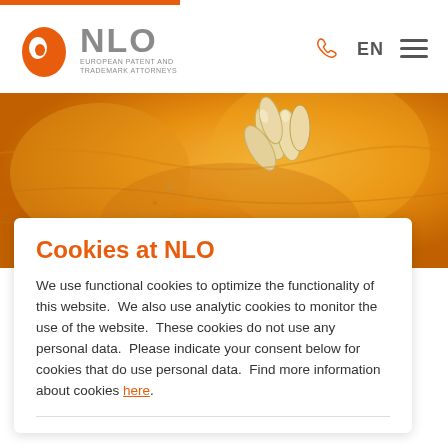[Figure (logo): NLO European Patent and Trademark Attorneys logo with orange egg/shield icon and gray NLO text]
[Figure (photo): Close-up macro photo of pumpkin seeds and flesh in orange tones used as hero banner]
Cookies at NLO
We use functional cookies to optimize the functionality of this website. We also use analytic cookies to monitor the use of the website. These cookies do not use any personal data. Please indicate your consent below for cookies that do use personal data. Find more information about cookies here.